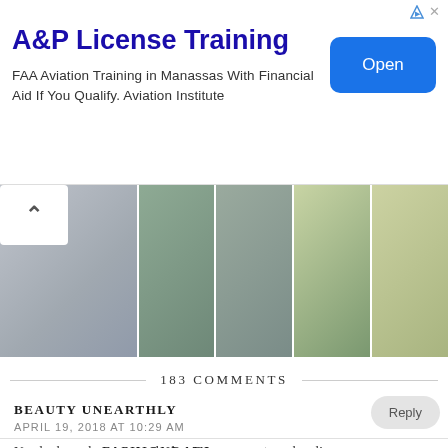[Figure (screenshot): Advertisement banner for A&P License Training. Shows title 'A&P License Training', body text 'FAA Aviation Training in Manassas With Financial Aid If You Qualify. Aviation Institute', and a blue 'Open' button on the right.]
[Figure (photo): A horizontal strip of 5 fashion/lifestyle photos showing people in various casual poses and outdoor settings. A back arrow button is overlaid on the left side.]
183 COMMENTS
BEAUTY UNEARTHLY
APRIL 19, 2018 AT 10:29 AM
You look so classy. Love the bag! Have a great weekend! xx
FASHIONRADI
APRIL 28, 2018 AT 11:39 PM